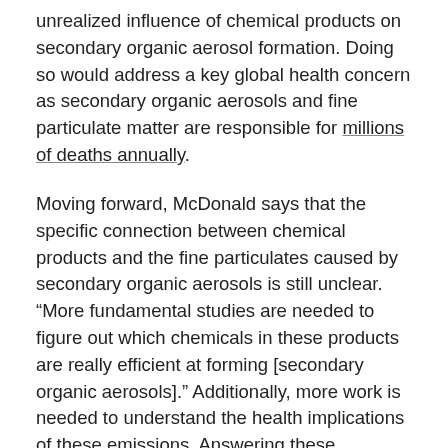unrealized influence of chemical products on secondary organic aerosol formation. Doing so would address a key global health concern as secondary organic aerosols and fine particulate matter are responsible for millions of deaths annually.
Moving forward, McDonald says that the specific connection between chemical products and the fine particulates caused by secondary organic aerosols is still unclear. “More fundamental studies are needed to figure out which chemicals in these products are really efficient at forming [secondary organic aerosols].” Additionally, more work is needed to understand the health implications of these emissions. Answering these questions would ultimately provide the best information for policy makers.
McDonald claims the study hasn’t made him think twice before putting on deodorant in the morning, but it has made him more